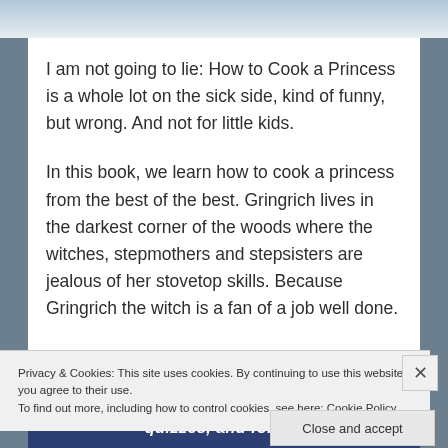I am not going to lie: How to Cook a Princess is a whole lot on the sick side, kind of funny, but wrong. And not for little kids.
In this book, we learn how to cook a princess from the best of the best. Gringrich lives in the darkest corner of the woods where the witches, stepmothers and stepsisters are jealous of her stovetop skills. Because Gringrich the witch is a fan of a job well done.
Privacy & Cookies: This site uses cookies. By continuing to use this website, you agree to their use.
To find out more, including how to control cookies, see here: Cookie Policy
Close and accept